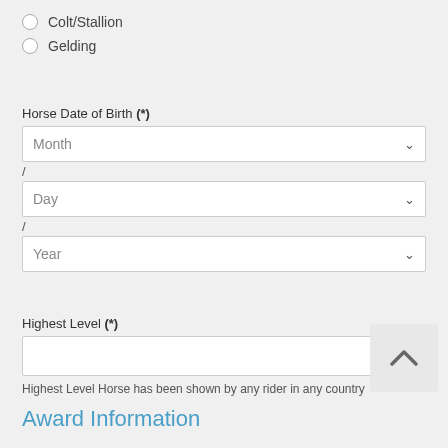Colt/Stallion
Gelding
Horse Date of Birth (*)
Month
/
Day
/
Year
Highest Level (*)
Highest Level Horse has been shown by any rider in any country
Award Information